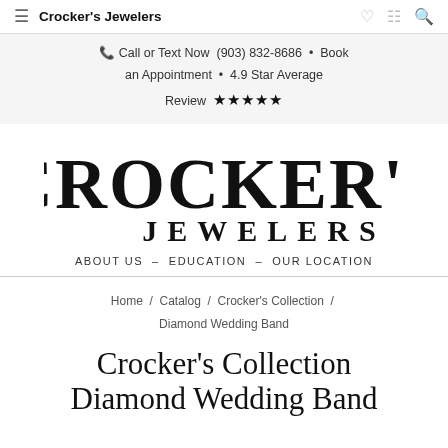Crocker's Jewelers
📞 Call or Text Now (903) 832-8686 · Book an Appointment · 4.9 Star Average Review ★★★★★
[Figure (logo): Crocker's Jewelers logo with large serif text CROCKER'S on top and JEWELERS below]
ABOUT US – EDUCATION – OUR LOCATION
Home / Catalog / Crocker's Collection / Diamond Wedding Band
Crocker's Collection Diamond Wedding Band